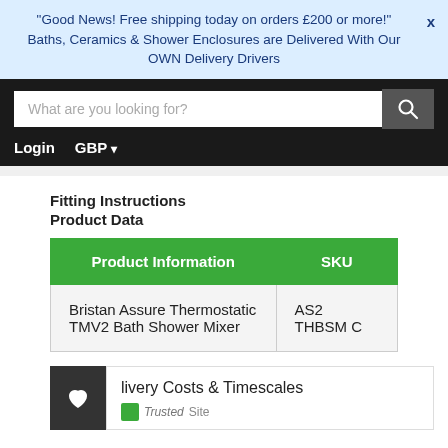"Good News! Free shipping today on orders £200 or more!" X
Baths, Ceramics & Shower Enclosures are Delivered With Our OWN Delivery Drivers
[Figure (screenshot): Search bar with placeholder 'What are you looking for?' and search button, Login and GBP currency selector on black navbar]
Fitting Instructions
Product Data
| Product Information | SKU |
| --- | --- |
| Bristan Assure Thermostatic TMV2 Bath Shower Mixer | AS2 THBSM C |
livery Costs & Timescales